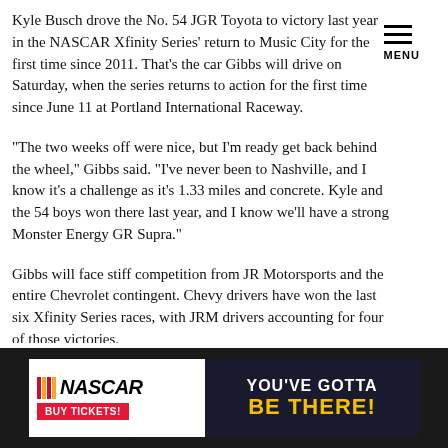MENU
Kyle Busch drove the No. 54 JGR Toyota to victory last year in the NASCAR Xfinity Series' return to Music City for the first time since 2011. That's the car Gibbs will drive on Saturday, when the series returns to action for the first time since June 11 at Portland International Raceway.
“The two weeks off were nice, but I’m ready get back behind the wheel,” Gibbs said. “I’ve never been to Nashville, and I know it’s a challenge as it’s 1.33 miles and concrete. Kyle and the 54 boys won there last year, and I know we’ll have a strong Monster Energy GR Supra.”
Gibbs will face stiff competition from JR Motorsports and the entire Chevrolet contingent. Chevy drivers have won the last six Xfinity Series races, with JRM drivers accounting for four of those victories.
[Figure (infographic): NASCAR advertisement banner: NASCAR logo with 'BUY TICKETS!' button on left, dark background with 'YOU'VE GOTTA BE THERE!' text on right]